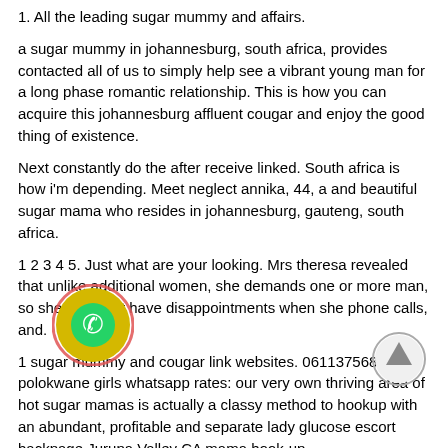1. All the leading sugar mummy and affairs.
a sugar mummy in johannesburg, south africa, provides contacted all of us to simply help see a vibrant young man for a long phase romantic relationship. This is how you can acquire this johannesburg affluent cougar and enjoy the good thing of existence.
Next constantly do the after receive linked. South africa is how i'm depending. Meet neglect annika, 44, a and beautiful sugar mama who resides in johannesburg, gauteng, south africa.
1 2 3 4 5. Just what are your looking. Mrs theresa revealed that unlike additional women, she demands one or more man, so she would n't have disappointments when she phone calls, and.
1 sugar mummy and cougar link websites. 0611375684, polokwane girls whatsapp rates: our very own thriving area of hot sugar mamas is actually a classy method to hookup with an abundant, profitable and separate lady glucose escort backpage Jurupa Valley CA mama hook-up.
[Figure (illustration): WhatsApp phone icon in a yellow/gold circle with a red border outline]
[Figure (illustration): Upward arrow icon in a light gray circle]